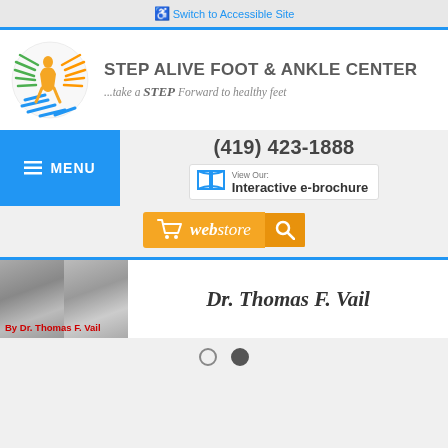♿ Switch to Accessible Site
[Figure (logo): Step Alive Foot & Ankle Center circular logo with green, orange, and blue stylized human figure and radiating lines]
STEP ALIVE FOOT & ANKLE CENTER
...take a STEP Forward to healthy feet
≡ MENU
(419) 423-1888
View Our: Interactive e-brochure
[Figure (screenshot): Orange webstore button with shopping cart icon and magnifying glass search icon]
[Figure (photo): Black and white photos of a book or newspaper pages]
By Dr. Thomas F. Vail
Dr. Thomas F. Vail
● ○